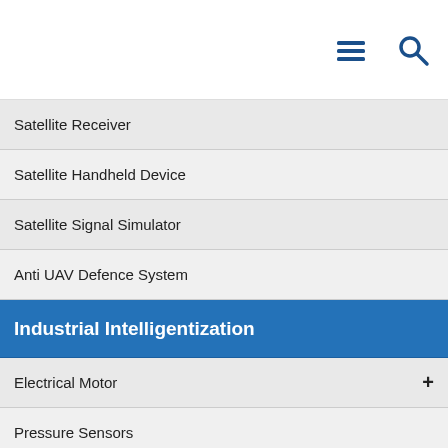[Figure (screenshot): Top navigation bar with hamburger menu icon and search icon on white background]
Satellite Receiver
Satellite Handheld Device
Satellite Signal Simulator
Anti UAV Defence System
Industrial Intelligentization
Electrical Motor +
Pressure Sensors
Tilt Sensor +
Digital Compass
Acceleration Sensor